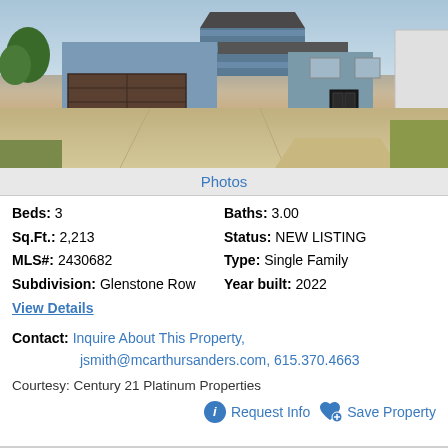[Figure (photo): Exterior photo of a new construction single family home with blue/gray siding, two-car brown garage door, concrete driveway, and front entry with dark door. Green trees visible on left side.]
Photos
Beds: 3   Baths: 3.00
Sq.Ft.: 2,213   Status: NEW LISTING
MLS#: 2430682   Type: Single Family
Subdivision: Glenstone Row   Year built: 2022
View Details
Contact: Inquire About This Property, jsmith@mcarthursanders.com, 615.370.4663
Courtesy: Century 21 Platinum Properties
Request Info   Save Property